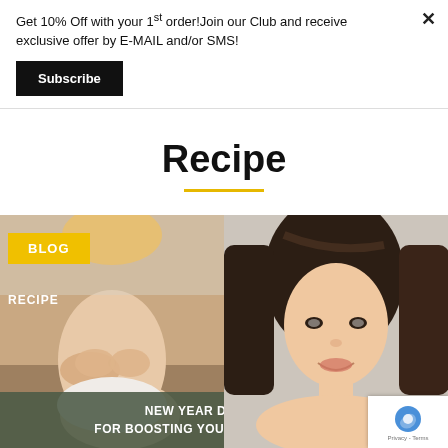Get 10% Off with your 1st order!Join our Club and receive exclusive offer by E-MAIL and/or SMS!
Subscribe
Recipe
[Figure (photo): Left panel: photo of a woman lying on a sofa touching her stomach, with yellow BLOG label and white RECIPE label overlay. Right panel: smiling Asian woman looking at camera. Bottom overlay: dark green banner with text NEW YEAR DETOX PLAN FOR BOOSTING YOUR IMMUNITY IN 2021. Bottom right: reCAPTCHA badge with Privacy - Terms text.]